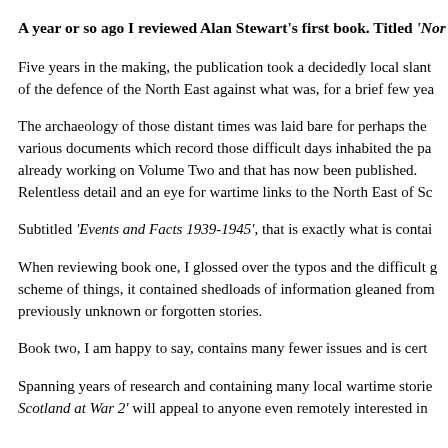A year or so ago I reviewed Alan Stewart’s first book. Titled ‘Nor…
Five years in the making, the publication took a decidedly local slant… of the defence of the North East against what was, for a brief few yea…
The archaeology of those distant times was laid bare for perhaps the… various documents which record those difficult days inhabited the pa… already working on Volume Two and that has now been published. Relentless detail and an eye for wartime links to the North East of Sc…
Subtitled ‘Events and Facts 1939-1945’, that is exactly what is contai…
When reviewing book one, I glossed over the typos and the difficult g… scheme of things, it contained shedloads of information gleaned from… previously unknown or forgotten stories.
Book two, I am happy to say, contains many fewer issues and is cert…
Spanning years of research and containing many local wartime storie… Scotland at War 2’ will appeal to anyone even remotely interested in…